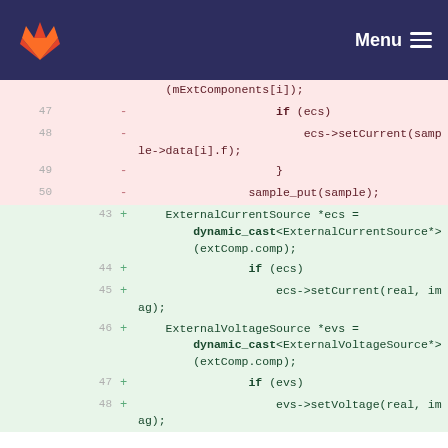GitLab Menu
Diff view of code showing removed lines (47-50) and added lines (43-48) with C++ code for ExternalCurrentSource and ExternalVoltageSource
47  -  if (ecs)
48  -  ecs->setCurrent(sample->data[i].f);
49  -  }
50  -  sample_put(sample);
43  +  ExternalCurrentSource *ecs = dynamic_cast<ExternalCurrentSource*>(extComp.comp);
44  +  if (ecs)
45  +  ecs->setCurrent(real, imag);
46  +  ExternalVoltageSource *evs = dynamic_cast<ExternalVoltageSource*>(extComp.comp);
47  +  if (evs)
48  +  evs->setVoltage(real, imag);